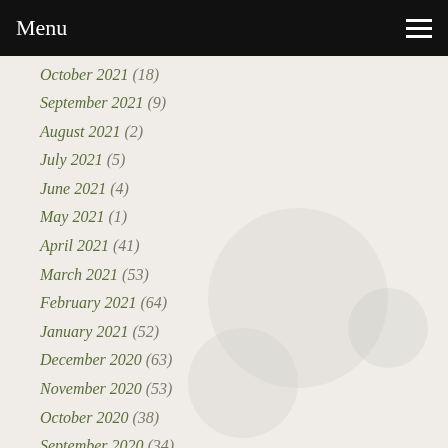Menu
October 2021 (18)
September 2021 (9)
August 2021 (2)
July 2021 (5)
June 2021 (4)
May 2021 (1)
April 2021 (41)
March 2021 (53)
February 2021 (64)
January 2021 (52)
December 2020 (63)
November 2020 (53)
October 2020 (38)
September 2020 (34)
August 2020 (30)
July 2020 (15)
June 2020 (12)
May 2020 (53)
April 2020 (57)